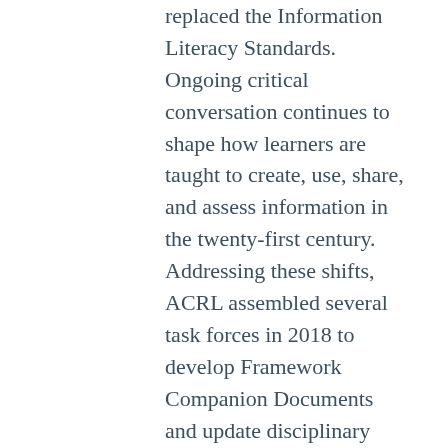replaced the Information Literacy Standards. Ongoing critical conversation continues to shape how learners are taught to create, use, share, and assess information in the twenty-first century. Addressing these shifts, ACRL assembled several task forces in 2018 to develop Framework Companion Documents and update disciplinary literacy standards documents. In this spirit, the current Visual Literacy Task Force was formed by the Image Resources Interest Group to update the 2011 Visual Literacy Standards.
At the outset, we acknowledged that visual literacy and related terminology remained difficult to define due to variations in use and meaning across